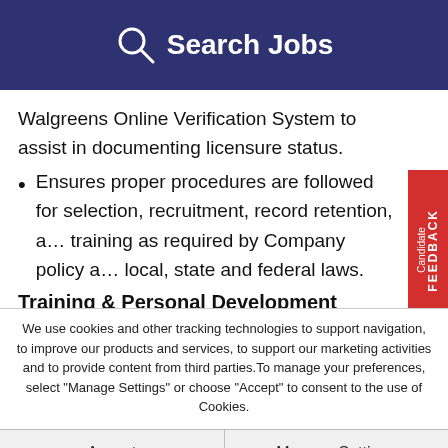Search Jobs
Walgreens Online Verification System to assist in documenting licensure status.
Ensures proper procedures are followed for selection, recruitment, record retention, and training as required by Company policy and local, state and federal laws.
Training & Personal Development
We use cookies and other tracking technologies to support navigation, to improve our products and services, to support our marketing activities and to provide content from third parties. To manage your preferences, select "Manage Settings" or choose "Accept" to consent to the use of Cookies.
Accept | Manage Settings